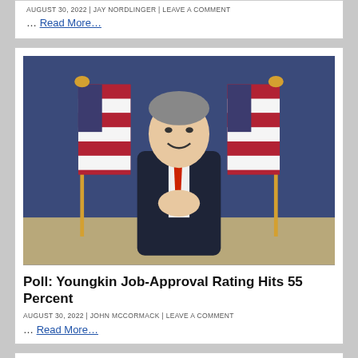AUGUST 30, 2022 | JAY NORDLINGER | LEAVE A COMMENT
… Read More…
[Figure (photo): Man in dark suit with red tie, clasping hands together, smiling, standing in front of two American flags and a blue curtain backdrop.]
Poll: Youngkin Job-Approval Rating Hits 55 Percent
AUGUST 30, 2022 | JOHN MCCORMACK | LEAVE A COMMENT
… Read More…
Graham to Biden: I Said I Reject Violence, Talk to Harris about Her Staff 'Bailing Out Rioters'